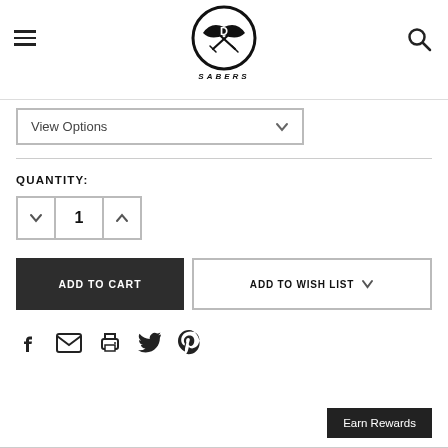[Figure (logo): D Sabers logo — circular badge with crossed sabers and stylized bird silhouette, text SABERS below]
View Options
QUANTITY:
1
ADD TO CART
ADD TO WISH LIST
[Figure (infographic): Social share icons row: Facebook, Email, Print, Twitter, Pinterest]
Earn Rewards